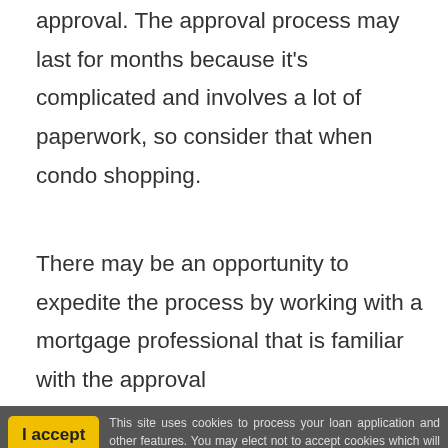approval. The approval process may last for months because it's complicated and involves a lot of paperwork, so consider that when condo shopping.
There may be an opportunity to expedite the process by working with a mortgage professional that is familiar with the approval process and is licensed to guarantee.
This site uses cookies to process your loan application and other features. You may elect not to accept cookies which will keep you from submitting a loan application. By your clicked consent/acceptance you acknowledge and allow the use of cookies. By clicking I Accept you acknowledge you have read and understand Greenline Mortgage, Inc.'s Privacy Policy.
Are you Ready to Buy a Condo with a VA Loan?
Condo developments are a good buy since